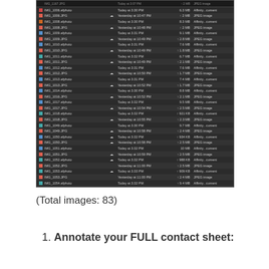[Figure (screenshot): macOS Finder file list showing image files (IMG_1006 through IMG_1058) with columns for filename, iCloud status, date modified, file size, and kind. Files alternate between .afphoto and .JPG types. Dates are 'Today at 3:30 PM' or 'Yesterday at 10:47 PM' etc. Sizes range from ~900 KB to 10 MB.]
(Total images: 83)
1. Annotate your FULL contact sheet: